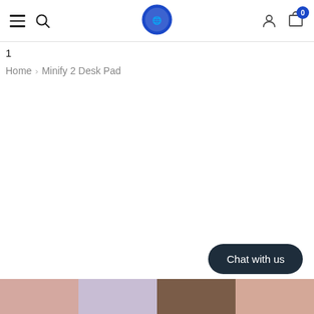Navigation header with hamburger menu, search, logo, user icon, and cart (0 items)
1
Home > Minify 2 Desk Pad
Chat with us
[Figure (photo): Row of four product thumbnail images at the bottom of the page]